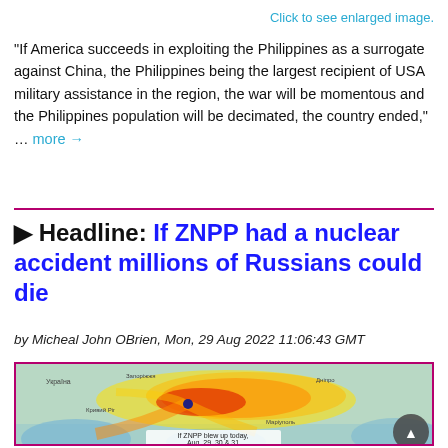Click to see enlarged image.
“If America succeeds in exploiting the Philippines as a surrogate against China, the Philippines being the largest recipient of USA military assistance in the region, the war will be momentous and the Philippines population will be decimated, the country ended,” … more →
▶ Headline: If ZNPP had a nuclear accident millions of Russians could die
by Micheal John OBrien, Mon, 29 Aug 2022 11:06:43 GMT
[Figure (map): Map showing nuclear fallout plume from ZNPP (Zaporizhzhia Nuclear Power Plant) spreading over Ukraine and surrounding regions, with red/orange/yellow color gradient indicating fallout intensity. Caption reads: If ZNPP blew up today, Aug. 29, 30 & 31]